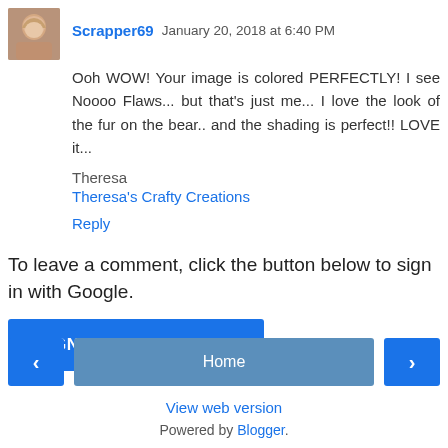[Figure (photo): Avatar photo of commenter Scrapper69, showing a woman with shoulder-length hair]
Scrapper69  January 20, 2018 at 6:40 PM
Ooh WOW! Your image is colored PERFECTLY! I see Noooo Flaws... but that's just me... I love the look of the fur on the bear.. and the shading is perfect!! LOVE it...
Theresa
Theresa's Crafty Creations
Reply
To leave a comment, click the button below to sign in with Google.
[Figure (other): SIGN IN WITH GOOGLE button]
[Figure (other): Navigation bar with left arrow, Home button, and right arrow]
View web version
Powered by Blogger.